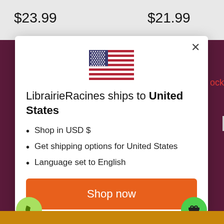$23.99
$21.99
[Figure (illustration): US flag emoji/illustration — stars and stripes]
LibrairieRacines ships to United States
Shop in USD $
Get shipping options for United States
Language set to English
Shop now
Change shipping country and language